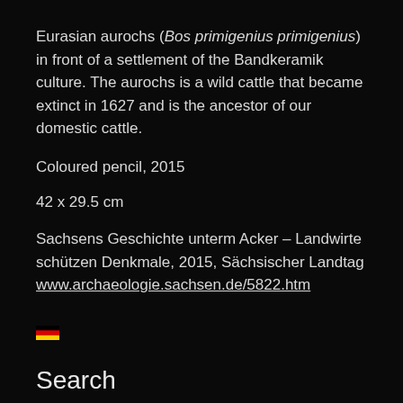Eurasian aurochs (Bos primigenius primigenius) in front of a settlement of the Bandkeramik culture. The aurochs is a wild cattle that became extinct in 1627 and is the ancestor of our domestic cattle.
Coloured pencil, 2015
42 x 29.5 cm
Sachsens Geschichte unterm Acker – Landwirte schützen Denkmale, 2015, Sächsischer Landtag www.archaeologie.sachsen.de/5822.htm
[Figure (illustration): German flag icon (small emoji-style flag)]
Search
Search …